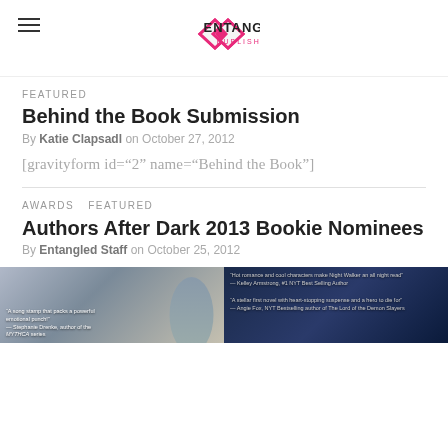[Figure (logo): Entangled Publishing logo with pink diamond shapes and text]
FEATURED
Behind the Book Submission
By Katie Clapsadl on October 27, 2012
[gravityform id="2" name="Behind the Book"]
AWARDS   FEATURED
Authors After Dark 2013 Bookie Nominees
By Entangled Staff on October 25, 2012
[Figure (photo): Two book covers side by side]